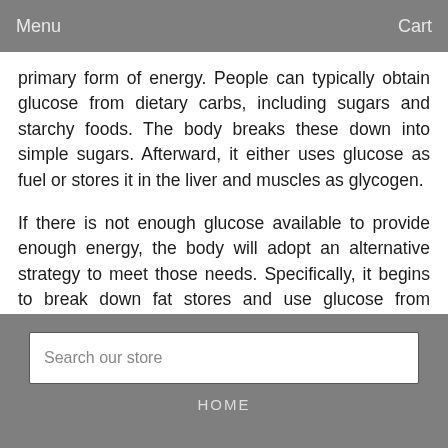Menu  Cart
primary form of energy. People can typically obtain glucose from dietary carbs, including sugars and starchy foods. The body breaks these down into simple sugars. Afterward, it either uses glucose as fuel or stores it in the liver and muscles as glycogen.
If there is not enough glucose available to provide enough energy, the body will adopt an alternative strategy to meet those needs. Specifically, it begins to break down fat stores and use glucose from triglycerides.
Ketones are a byproduct of this process. These are acids that build up in the blood and leave the body in the urine. In small amounts, they indicate that the body is breaking down fat. However, high levels of ketones can poison the body, leading to a condition called ketoacidosis.
Search our store  HOME